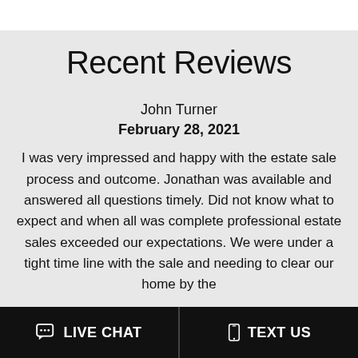Recent Reviews
John Turner
February 28, 2021
I was very impressed and happy with the estate sale process and outcome. Jonathan was available and answered all questions timely. Did not know what to expect and when all was complete professional estate sales exceeded our expectations. We were under a tight time line with the sale and needing to clear our home by the
LIVE CHAT   TEXT US